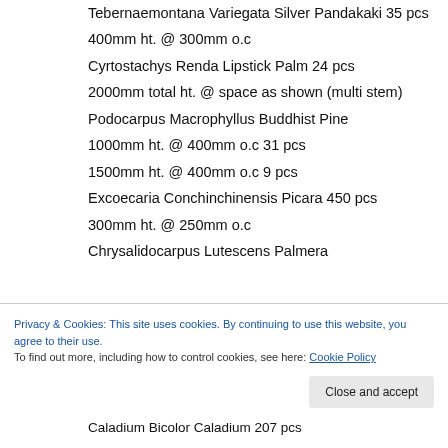Tebernaemontana Variegata Silver Pandakaki 35 pcs
400mm ht. @ 300mm o.c
Cyrtostachys Renda Lipstick Palm 24 pcs
2000mm total ht. @ space as shown (multi stem)
Podocarpus Macrophyllus Buddhist Pine
1000mm ht. @ 400mm o.c 31 pcs
1500mm ht. @ 400mm o.c 9 pcs
Excoecaria Conchinchinensis Picara 450 pcs
300mm ht. @ 250mm o.c
Chrysalidocarpus Lutescens Palmera
Privacy & Cookies: This site uses cookies. By continuing to use this website, you agree to their use. To find out more, including how to control cookies, see here: Cookie Policy
Caladium Bicolor Caladium 207 pcs